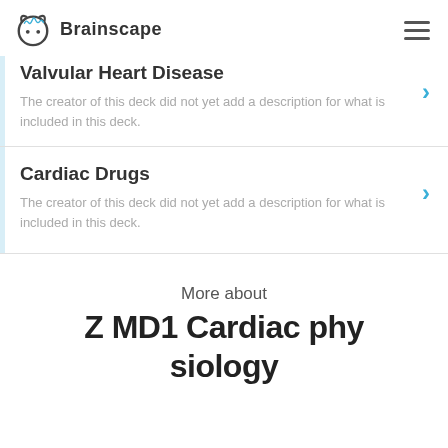Brainscape
Valvular Heart Disease
The creator of this deck did not yet add a description for what is included in this deck.
Cardiac Drugs
The creator of this deck did not yet add a description for what is included in this deck.
More about
Z MD1 Cardiac physiology